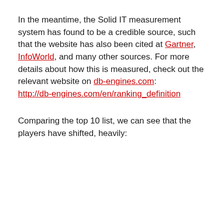In the meantime, the Solid IT measurement system has found to be a credible source, such that the website has also been cited at Gartner, InfoWorld, and many other sources. For more details about how this is measured, check out the relevant website on db-engines.com: http://db-engines.com/en/ranking_definition
Comparing the top 10 list, we can see that the players have shifted, heavily: